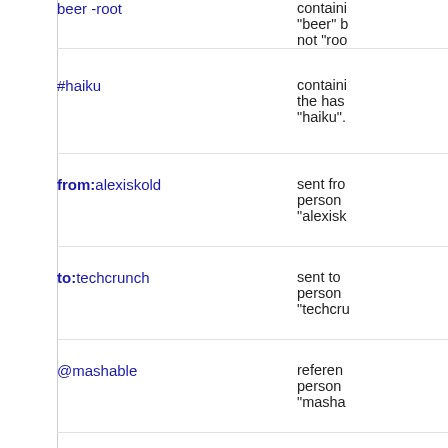| Operator / Example | Description |
| --- | --- |
| beer -root | containi
"beer" b
not "roo |
| #haiku | containi
the has
"haiku". |
| from:alexiskold | sent fro
person
"alexisk |
| to:techcrunch | sent to
person
"techcru |
| @mashable | referen
person
"masha |
| "happy hour"
near:"san | containi
the exa |